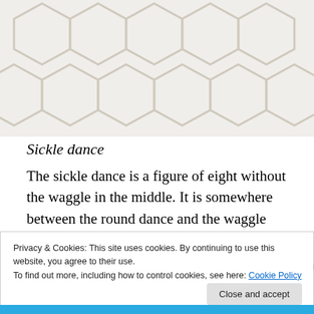[Figure (illustration): Honeycomb hexagon pattern background in light beige/grey tones, partially visible at top of page]
Sickle dance
The sickle dance is a figure of eight without the waggle in the middle. It is somewhere between the round dance and the waggle dance and it is used when the distance to the forage is somewhere inbetween. It says, ‘around the corner and up the next street’.
[Figure (illustration): Colorful decorative strip with orange, yellow, green and purple sections with bee-related imagery]
Privacy & Cookies: This site uses cookies. By continuing to use this website, you agree to their use.
To find out more, including how to control cookies, see here: Cookie Policy
Close and accept